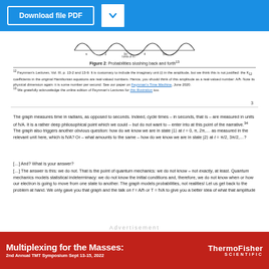[Figure (screenshot): Download file PDF button and chevron dropdown button in blue UI bar]
[Figure (continuous-plot): Graph showing probabilities sloshing back and forth, with oscillating wave pattern on x-axis measured in radians]
Figure 2: Probabilities sloshing back and forth¹³
¹² Feynman's Lectures, Vol. III, p. 13-2 and 13-9. It is customary to include the imaginary unit (i) in the amplitude, but we think this is not justified: the K₁₂ coefficients in the original Hamiltonian equations are real-valued numbers. Hence, you should think of this amplitude as a real-valued number: A/ħ. Note its physical dimension again: it is some number per second. See our paper on Feynman's Time Machine, June 2020.
¹³ We gratefully acknowledge the online edition of Feynman's Lectures for this illustration too.
3
The graph measures time in radians, as opposed to seconds. Indeed, cycle times – in seconds, that is – are measured in units of ħ/A. It is a rather deep philosophical point which we could – but do not want to – enter into at this point of the narrative.³⁴ The graph also triggers another obvious question: how do we know we are in state |1⟩ at t = 0, π, 2π,… as measured in the relevant unit here, which is ħ/A? Or – what amounts to the same – how do we know we are in state |2⟩ at t = π/2, 3π/2,…?
[…] And? What is your answer?
[…] The answer is this: we do not. That is the point of quantum mechanics: we do not know – not exactly, at least. Quantum mechanics models statistical indeterminacy: we do not know the initial conditions and, therefore, we do not know when or how our electron is going to move from one state to another. The graph models probabilities, not realities! Let us get back to the problem at hand. We only gave you that graph and the talk on f = A/ħ or T = ħ/A to give you a better idea of what that amplitude
[Figure (screenshot): Advertisement banner: Multiplexing for the Masses: 2nd Annual TMT Symposium Sept 13-15, 2022 — ThermoFisher Scientific]